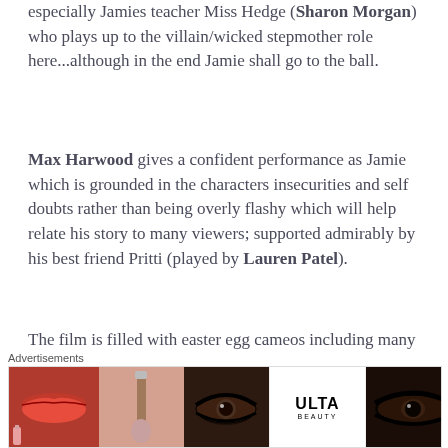especially Jamies teacher Miss Hedge (Sharon Morgan) who plays up to the villain/wicked stepmother role here...although in the end Jamie shall go to the ball.
Max Harwood gives a confident performance as Jamie which is grounded in the characters insecurities and self doubts rather than being overly flashy which will help relate his story to many viewers; supported admirably by his best friend Pritti (played by Lauren Patel).
The film is filled with easter egg cameos including many cast members from the stage musicals, the wider world of drag (such as Drag Race winner Bianca Del Rio) and even the real-life Jamie Campbell.
“A joyous LGBT coming of age story brought from stage to
[Figure (photo): Advertisement banner showing Ulta Beauty cosmetics ad with lips, brush, eye makeup, Ulta logo, and eyes with SHOP NOW text]
Advertisements